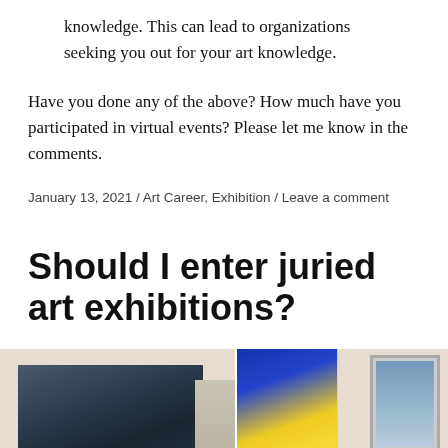knowledge. This can lead to organizations seeking you out for your art knowledge.
Have you done any of the above? How much have you participated in virtual events? Please let me know in the comments.
January 13, 2021  /  Art Career, Exhibition  /  Leave a comment
Should I enter juried art exhibitions?
[Figure (photo): Paintings and framed artwork displayed on a gallery wall, showing abstract and floral pieces]